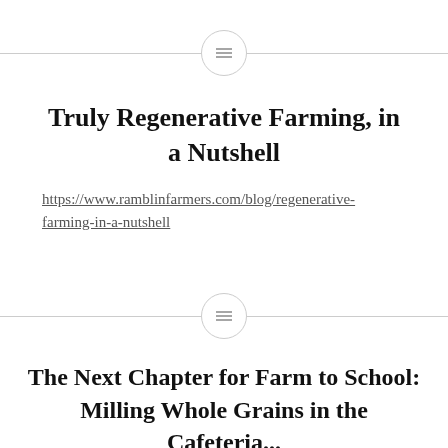[Figure (other): Horizontal divider line with a circular icon containing three lines (hamburger/menu icon)]
Truly Regenerative Farming, in a Nutshell
https://www.ramblinfarmers.com/blog/regenerative-farming-in-a-nutshell
[Figure (other): Horizontal divider line with a circular icon containing three lines (hamburger/menu icon)]
The Next Chapter for Farm to School: Milling Whole Grains in the Cafeteria...